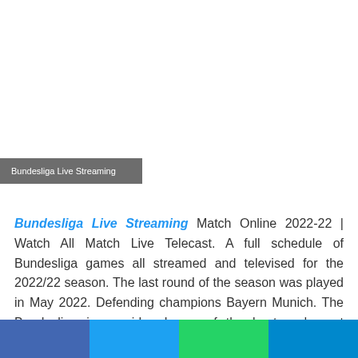[Figure (other): Blank white image area at top of page — advertisement or image placeholder]
Bundesliga Live Streaming
Bundesliga Live Streaming Match Online 2022-22 | Watch All Match Live Telecast. A full schedule of Bundesliga games all streamed and televised for the 2022/22 season. The last round of the season was played in May 2022. Defending champions Bayern Munich. The Bundesliga is considered one of the best and most competitive leagues in the world. This is
[Figure (other): Social sharing bar at bottom: Facebook (blue), Twitter (light blue), WhatsApp (green), Telegram (dark blue)]